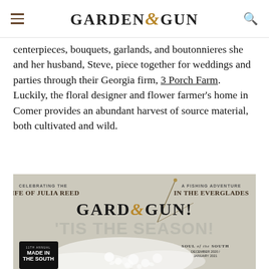GARDEN&GUN
centerpieces, bouquets, garlands, and boutonnieres she and her husband, Steve, piece together for weddings and parties through their Georgia firm, 3 Porch Farm. Luckily, the floral designer and flower farmer's home in Comer provides an abundant harvest of source material, both cultivated and wild.
[Figure (photo): Garden & Gun magazine cover featuring 'Celebrating the Life of Julia Reed', 'A Fishing Adventure in the Everglades', main headline ''Tis the Season!', 11th Annual Made in the South awards badge, 'Soul of the South December 2020/January 2021' text, with a white floral arrangement and fishing rod graphic.]